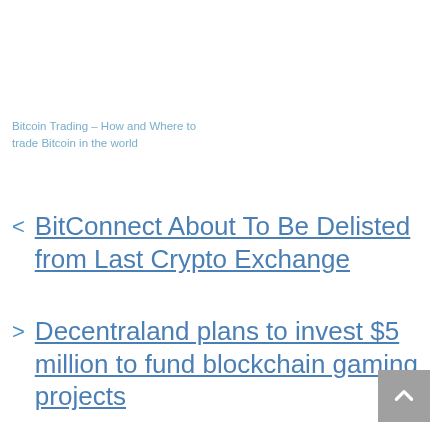Bitcoin Trading – How and Where to trade Bitcoin in the world
BitConnect About To Be Delisted from Last Crypto Exchange
Decentraland plans to invest $5 million to fund blockchain gaming projects